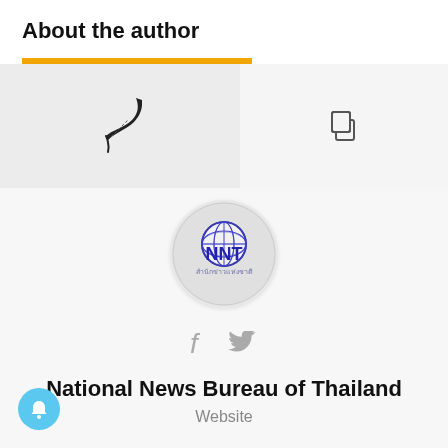About the author
[Figure (logo): NNT (National News Bureau of Thailand) circular logo with globe icon, blue text NNT and Thai script below]
National News Bureau of Thailand
Website